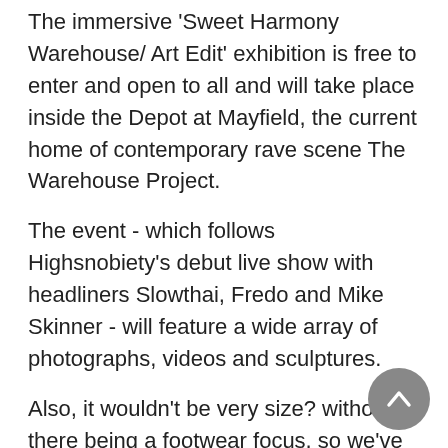The immersive 'Sweet Harmony Warehouse/ Art Edit' exhibition is free to enter and open to all and will take place inside the Depot at Mayfield, the current home of contemporary rave scene The Warehouse Project.
The event - which follows Highsnobiety's debut live show with headliners Slowthai, Fredo and Mike Skinner - will feature a wide array of photographs, videos and sculptures.
Also, it wouldn't be very size? without there being a footwear focus, so we've pulled together a selection of shoes inspired by the golden era of British underground culture, with a particular focus on Manchester and its surrounding areas.
Visitors to the event will see exhibits from the early acid house days and The Hacienda, right through to movements & collectives that are keeping the rave